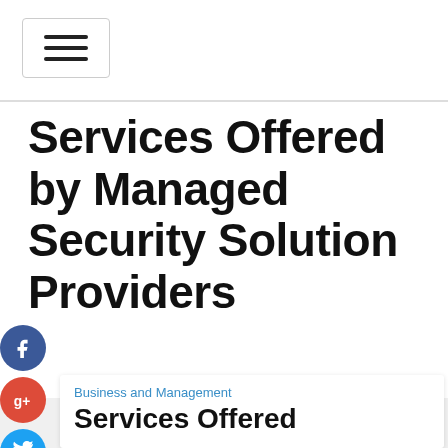[Figure (other): Hamburger menu icon button with three horizontal bars inside a rounded rectangle border]
Services Offered by Managed Security Solution Providers
[Figure (other): Social media share buttons: Facebook (blue circle with f), Google+ (red circle with g+), Twitter (blue circle with bird), and a dark plus button]
Business and Management
Services Offered